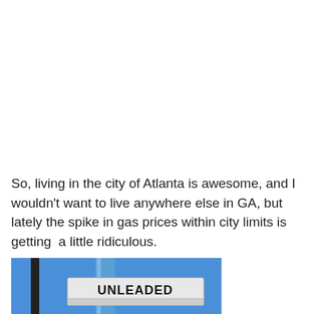So, living in the city of Atlanta is awesome, and I wouldn't want to live anywhere else in GA, but lately the spike in gas prices within city limits is getting  a little ridiculous.
[Figure (photo): A photo of a gas station sign showing 'UNLEADED' against a blue sky, with a metal pole visible.]